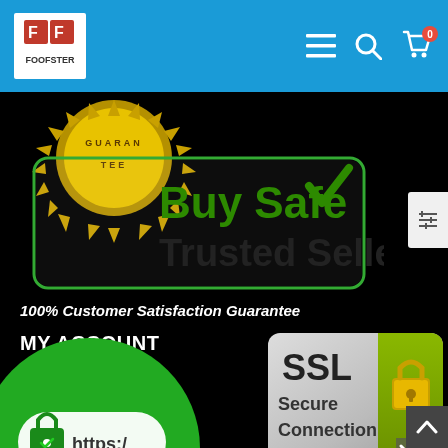[Figure (logo): Foofster logo with red FF icon and white background in blue navigation header bar with hamburger menu, search, and cart icons]
[Figure (illustration): Buy Safe Trusted Seller badge with gold guarantee seal, green checkmark, and rounded rectangle border on black background]
100% Customer Satisfaction Guarantee
MY ACCOUNT
Account Login
Contact us
[Figure (illustration): Green circle HTTPS badge with lock icon and https:/ text indicating secure connection]
[Figure (illustration): SSL Secure Connection badge with padlock icon on grey and green gradient background]